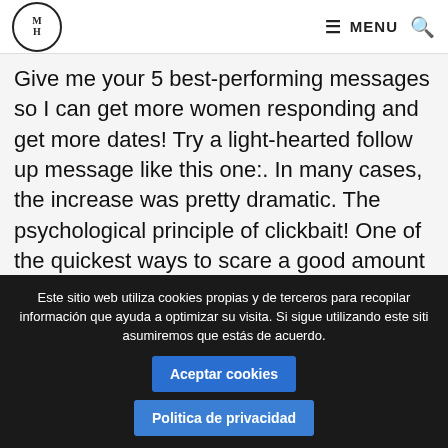M H (logo) MENU
Give me your 5 best-performing messages so I can get more women responding and get more dates! Try a light-hearted follow up message like this one:. In many cases, the increase was pretty dramatic. The psychological principle of clickbait! One of the quickest ways to scare a good amount of women is by using childish abbreviations, poor spelling, and incorrect grammar. Do I feel comfortable? Schedule A Quick Call. Funny online dating messages get responses because women naturally find guys with a sense of humor attractive. What's your current income level? Getting hook ups from online dating apps is an easy feat.... Any
Este sitio web utiliza cookies propias y de terceros para recopilar información que ayuda a optimizar su visita. Si sigue utilizando este siti asumiremos que estás de acuerdo.
Aceptar cookies
Politica de privacidad